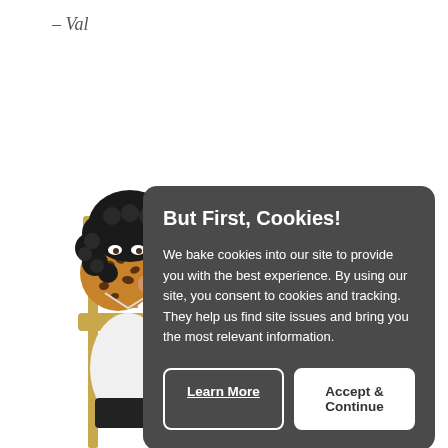– Val
[Figure (illustration): Two illustrated cartoon characters: a person with curly black hair eating a large cookie covering their face, seated on a chair, and another person with brown hair on the right side.]
But First, Cookies!
We bake cookies into our site to provide you with the best experience. By using our site, you consent to cookies and tracking. They help us find site issues and bring you the most relevant information.
Learn More
Accept & Continue